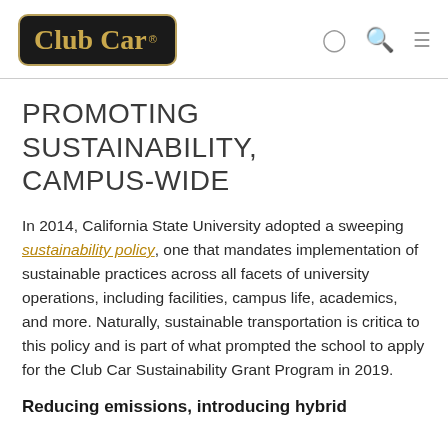Club Car [logo] [navigation icons]
PROMOTING SUSTAINABILITY, CAMPUS-WIDE
In 2014, California State University adopted a sweeping sustainability policy, one that mandates implementation of sustainable practices across all facets of university operations, including facilities, campus life, academics, and more. Naturally, sustainable transportation is critical to this policy and is part of what prompted the school to apply for the Club Car Sustainability Grant Program in 2019.
Reducing emissions, introducing hybrid